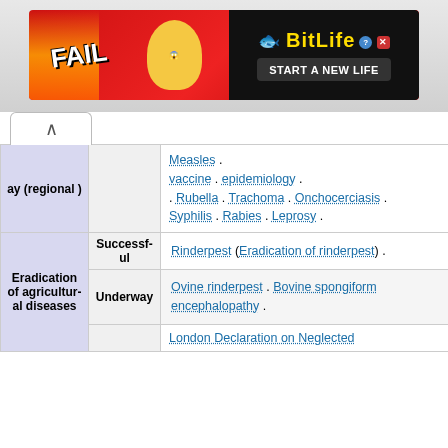[Figure (screenshot): BitLife advertisement banner with 'FAIL' text and 'START A NEW LIFE' tagline on red background]
| Category | Status | Examples |
| --- | --- | --- |
| ay (regional) | Measles vaccine . epidemiology . Rubella . Trachoma . Onchocerciasis . Syphilis . Rabies . Leprosy . |
| Eradication of agricultural diseases | Successful | Rinderpest (Eradication of rinderpest) . |
| Eradication of agricultural diseases | Underway | Ovine rinderpest . Bovine spongiform encephalopathy . |
|  |  | London Declaration on Neglected... |